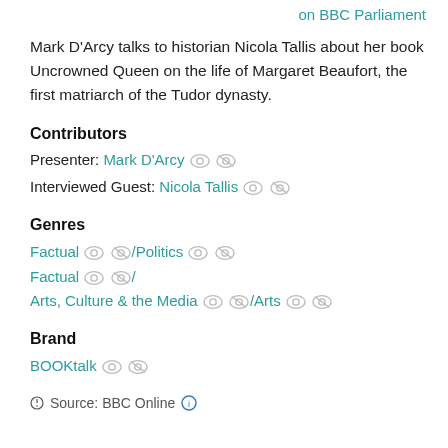on BBC Parliament
Mark D'Arcy talks to historian Nicola Tallis about her book Uncrowned Queen on the life of Margaret Beaufort, the first matriarch of the Tudor dynasty.
Contributors
Presenter: Mark D'Arcy
Interviewed Guest: Nicola Tallis
Genres
Factual / Politics
Factual / Arts, Culture & the Media / Arts
Brand
BOOKtalk
Source: BBC Online